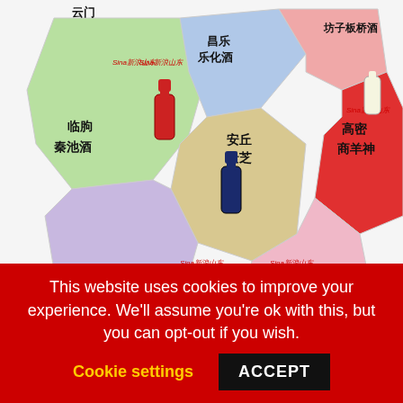[Figure (map): Map of Shandong province regions in China showing local baijiu liquor brands: 坊子板桥酒, 昌乐 乐化酒, 临朐 秦池酒, 安丘 景芝, 高密 商羊神, 诸城 密州春, with Sina新浪山东 logos and bottle images on a colorful regional map]
China's Great Baijiu Divide
In China, there is definitely a baijiu north and south divide. While a handful of celebrated baijiu brands hail from Northern China, it's the More...
This website uses cookies to improve your experience. We'll assume you're ok with this, but you can opt-out if you wish.
Cookie settings
ACCEPT